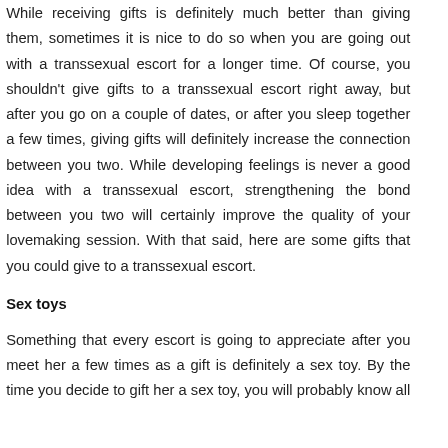While receiving gifts is definitely much better than giving them, sometimes it is nice to do so when you are going out with a transsexual escort for a longer time. Of course, you shouldn't give gifts to a transsexual escort right away, but after you go on a couple of dates, or after you sleep together a few times, giving gifts will definitely increase the connection between you two. While developing feelings is never a good idea with a transsexual escort, strengthening the bond between you two will certainly improve the quality of your lovemaking session. With that said, here are some gifts that you could give to a transsexual escort.
Sex toys
Something that every escort is going to appreciate after you meet her a few times as a gift is definitely a sex toy. By the time you decide to gift her a sex toy, you will probably know all